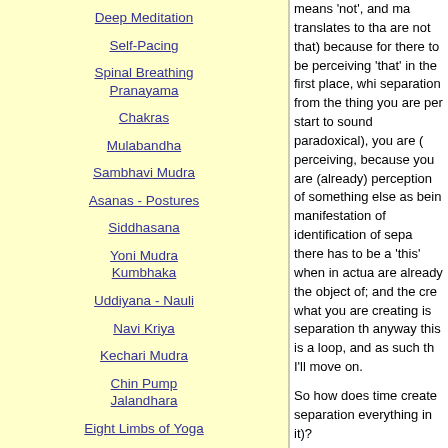Deep Meditation
Self-Pacing
Spinal Breathing Pranayama
Chakras
Mulabandha
Sambhavi Mudra
Asanas - Postures
Siddhasana
Yoni Mudra Kumbhaka
Uddiyana - Nauli
Navi Kriya
Kechari Mudra
Chin Pump Jalandhara
Eight Limbs of Yoga
means 'not', and ma translates to tha are not that) because for there to be perceiving 'that' in the first place, whi separation from the thing you are per start to sound paradoxical), you are ( perceiving, because you are (already) perception of something else as bein manifestation of identification of sepa there has to be a 'this' when in actua are already the object of; and the cre what you are creating is separation th anyway this is a loop, and as such th I'll move on.

So how does time create separation everything in it)?

Time creates distance ((space) an, e

Distance is measured by the (')time(' another (separation (3d, or three dim backward, forwards (for there to be a three dimensions of space) and yes b that is one of the causation's of duali an up there has to be a down, for the neither can exist without the other, to traversing from the right, ie. To move has to be a point from which you are duality, dual, polar opposites; and ag hot, cold etc.) So again I will move o